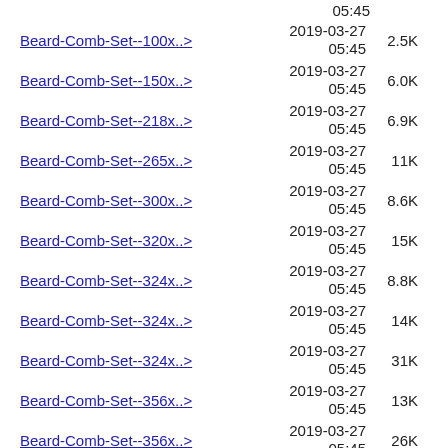05:45 (partial top)
Beard-Comb-Set--100x..>  2019-03-27 05:45  2.5K
Beard-Comb-Set--150x..>  2019-03-27 05:45  6.0K
Beard-Comb-Set--218x..>  2019-03-27 05:45  6.9K
Beard-Comb-Set--265x..>  2019-03-27 05:45  11K
Beard-Comb-Set--300x..>  2019-03-27 05:45  8.6K
Beard-Comb-Set--320x..>  2019-03-27 05:45  15K
Beard-Comb-Set--324x..>  2019-03-27 05:45  8.8K
Beard-Comb-Set--324x..>  2019-03-27 05:45  14K
Beard-Comb-Set--324x..>  2019-03-27 05:45  31K
Beard-Comb-Set--356x..>  2019-03-27 05:45  13K
Beard-Comb-Set--356x..>  2019-03-27 05:45  26K